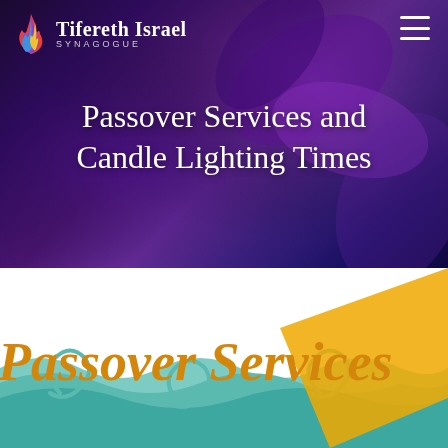[Figure (illustration): Tifereth Israel Synagogue logo with stylized flame icon in red, blue, and gold colors, white text reading 'Tifereth Israel' with 'SYNAGOGUE' in small caps below]
Passover Services and Candle Lighting Times
[Figure (illustration): Decorative Passover illustration with teal waves/water swirls and golden diagonal stripe, with 'Passover Services' in large italic golden text overlay]